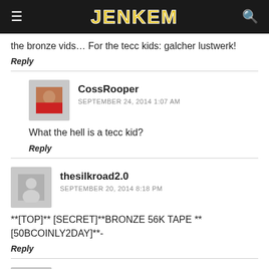JENKEM
the bronze vids… For the tecc kids: galcher lustwerk!
Reply
CossRooper
SEPTEMBER 24, 2014 1:07 AM
What the hell is a tecc kid?
Reply
thesilkroad2.0
SEPTEMBER 20, 2014 8:18 PM
**[TOP]** [SECRET]**BRONZE 56K TAPE **[50BCOINLY2DAY]**-
Reply
throw me a bone
SEPTEMBER 23, 2014 2:48 PM
ay Jenkem, can we get a feature on these Bronze girls? They officially have my attention with dat ass.
Reply